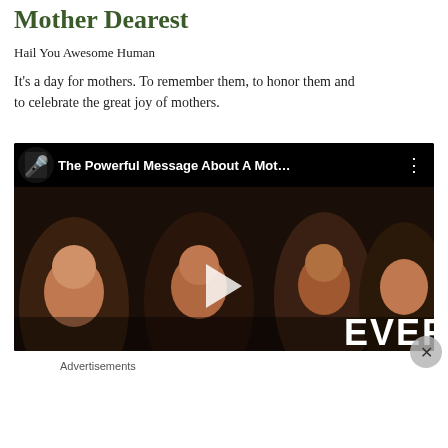Mother Dearest
Hail You Awesome Human
It's a day for mothers. To remember them, to honor them and to celebrate the great joy of mothers.
[Figure (screenshot): YouTube video embed showing 'The Powerful Message About A Mot...' with an audience watching, a play button in the center, and 'EVERY' text in white bold letters at the bottom right.]
Advertisements
[Figure (screenshot): DuckDuckGo advertisement banner: 'Search, browse, and email with more privacy. All in One Free App' on orange background with DuckDuckGo logo on dark right panel.]